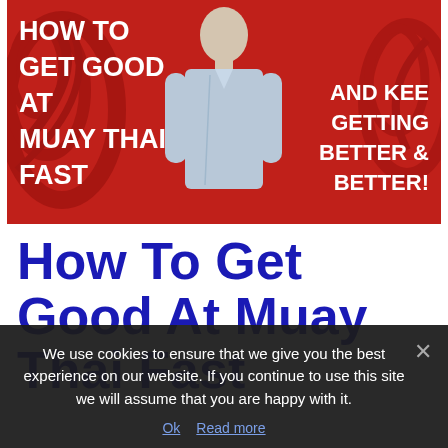[Figure (screenshot): Video thumbnail with red background, decorative swirls, and a man in a blue shirt standing in the center. White bold text on the left reads 'HOW TO GET GOOD AT MUAY THAI FAST' and on the right reads 'AND KEE GETTING BETTER & BETTER!']
How To Get Good At Muay Thai Fast
We use cookies to ensure that we give you the best experience on our website. If you continue to use this site we will assume that you are happy with it.